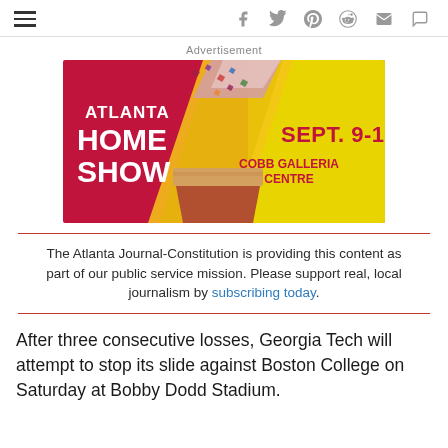Navigation header with hamburger menu and social icons (Facebook, Twitter, Pinterest, Reddit, Mail, Comment)
Advertisement
[Figure (illustration): Atlanta Home Show advertisement banner. Dark red/maroon left side with white text: ATLANTA HOME SHOW. Yellow right side with dark red text: SEPT. 9-11. Below that: COBB GALLERIA CENTRE. A paint brush with patterned handle is painted diagonally across the center.]
The Atlanta Journal-Constitution is providing this content as part of our public service mission. Please support real, local journalism by subscribing today.
After three consecutive losses, Georgia Tech will attempt to stop its slide against Boston College on Saturday at Bobby Dodd Stadium.